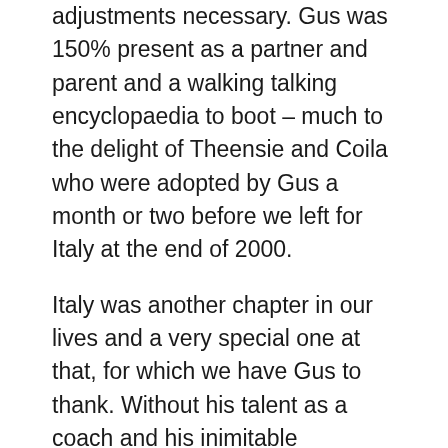adjustments necessary. Gus was 150% present as a partner and parent and a walking talking encyclopaedia to boot – much to the delight of Theensie and Coila who were adopted by Gus a month or two before we left for Italy at the end of 2000.
Italy was another chapter in our lives and a very special one at that, for which we have Gus to thank. Without his talent as a coach and his inimitable character we would not have had the opportunity of living and working overseas, let alone Italy with its amazing art and culture. It was a unique experience for each one of us and as a couple Gus and I had the privilege of spending time